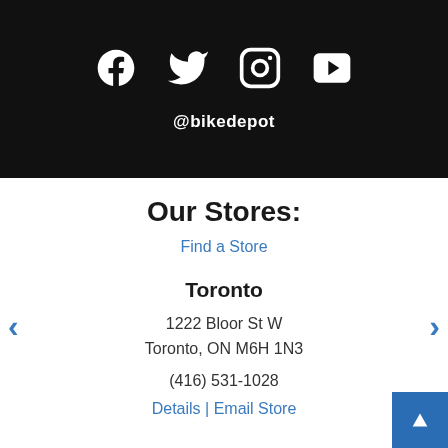[Figure (infographic): Dark banner with social media icons: Facebook, Twitter, Instagram, YouTube]
@bikedepot
Our Stores:
Find a Store
Toronto
1222 Bloor St W
Toronto, ON M6H 1N3
(416) 531-1028
Details | Email Store